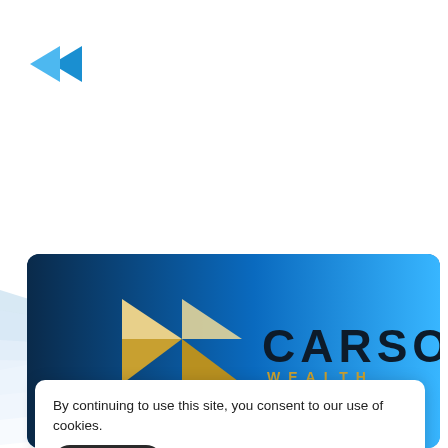[Figure (logo): Small blue angular chevron/arrow logo in top-left corner]
[Figure (illustration): Light blue and grey overlapping angular geometric background shapes creating a layered ribbon effect]
[Figure (logo): Carson Wealth logo on dark blue gradient card background, featuring a gold/yellow angular geometric diamond shape on the left and the text CARSON in large dark navy letters with WEALTH in gold letters below]
By continuing to use this site, you consent to our use of cookies.
ACCEPT